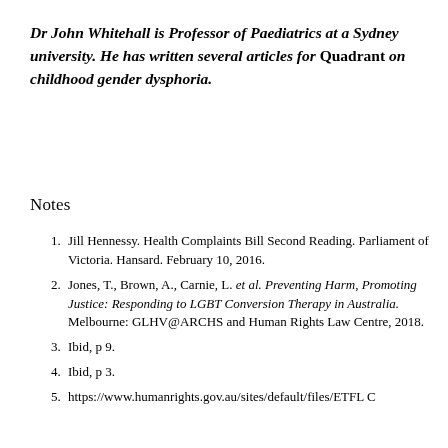Dr John Whitehall is Professor of Paediatrics at a Sydney university. He has written several articles for Quadrant on childhood gender dysphoria.
Notes
Jill Hennessy. Health Complaints Bill Second Reading. Parliament of Victoria. Hansard. February 10, 2016.
Jones, T., Brown, A., Carnie, L. et al. Preventing Harm, Promoting Justice: Responding to LGBT Conversion Therapy in Australia. Melbourne: GLHV@ARCHS and Human Rights Law Centre, 2018.
Ibid, p 9.
Ibid, p 3.
https://www.humanrights.gov.au/sites/default/files/ETFL C